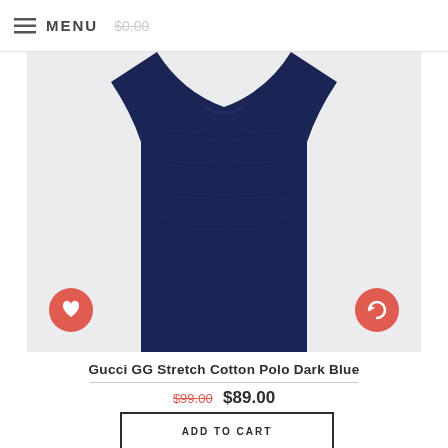MENU
[Figure (photo): Dark navy blue Gucci GG Stretch Cotton Polo shirt hanging, photographed on white background. Heart/wishlist button (red circle) on lower left, refresh/compare button (red circle) on lower right.]
Gucci GG Stretch Cotton Polo Dark Blue
$99.00  $89.00
ADD TO CART
[Figure (photo): Partial view of a second product on light grey background, showing what appear to be two thin brown/metallic items (possibly accessories). Scroll-to-top button (circular arrow pointing up, teal border) at bottom right.]